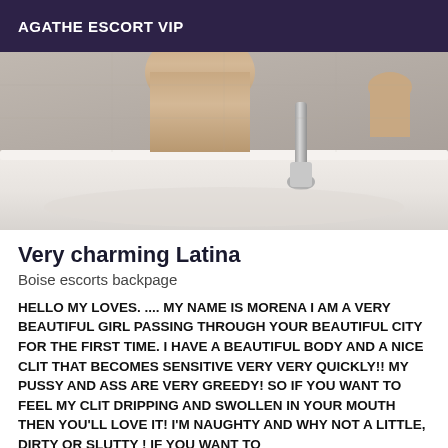AGATHE ESCORT VIP
[Figure (photo): Photo of a person in a bathtub, bathtub faucet and white bathtub visible, partial figure visible at top]
Very charming Latina
Boise escorts backpage
HELLO MY LOVES. .... MY NAME IS MORENA I AM A VERY BEAUTIFUL GIRL PASSING THROUGH YOUR BEAUTIFUL CITY FOR THE FIRST TIME. I HAVE A BEAUTIFUL BODY AND A NICE CLIT THAT BECOMES SENSITIVE VERY VERY QUICKLY!! MY PUSSY AND ASS ARE VERY GREEDY! SO IF YOU WANT TO FEEL MY CLIT DRIPPING AND SWOLLEN IN YOUR MOUTH THEN YOU'LL LOVE IT! I'M NAUGHTY AND WHY NOT A LITTLE, DIRTY OR SLUTTY ! IF YOU WANT TO